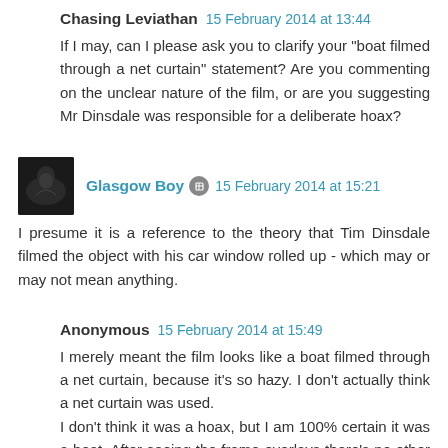Chasing Leviathan  15 February 2014 at 13:44
If I may, can I please ask you to clarify your "boat filmed through a net curtain" statement? Are you commenting on the unclear nature of the film, or are you suggesting Mr Dinsdale was responsible for a deliberate hoax?
Glasgow Boy  15 February 2014 at 15:21
I presume it is a reference to the theory that Tim Dinsdale filmed the object with his car window rolled up - which may or may not mean anything.
Anonymous  15 February 2014 at 15:49
I merely meant the film looks like a boat filmed through a net curtain, because it's so hazy. I don't actually think a net curtain was used.
I don't think it was a hoax, but I am 100% certain it was a boat. After seeing the frame overlays there's no other logical conclusion.